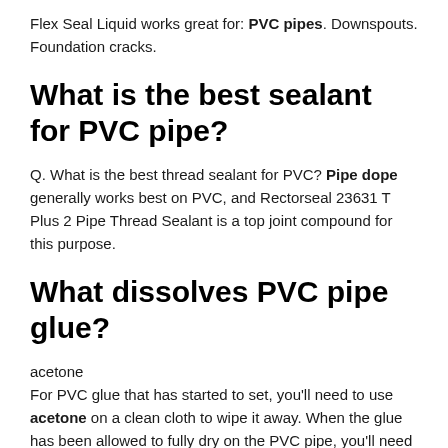Flex Seal Liquid works great for: PVC pipes. Downspouts. Foundation cracks.
What is the best sealant for PVC pipe?
Q. What is the best thread sealant for PVC? Pipe dope generally works best on PVC, and Rectorseal 23631 T Plus 2 Pipe Thread Sealant is a top joint compound for this purpose.
What dissolves PVC pipe glue?
acetone
For PVC glue that has started to set, you'll need to use acetone on a clean cloth to wipe it away. When the glue has been allowed to fully dry on the PVC pipe, you'll need to use a special solvent to break down and loosen up that